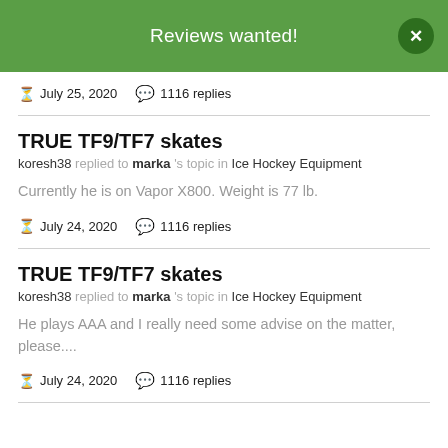Reviews wanted!
July 25, 2020   1116 replies
TRUE TF9/TF7 skates
koresh38 replied to marka's topic in Ice Hockey Equipment
Currently he is on Vapor X800. Weight is 77 lb.
July 24, 2020   1116 replies
TRUE TF9/TF7 skates
koresh38 replied to marka's topic in Ice Hockey Equipment
He plays AAA and I really need some advise on the matter, please....
July 24, 2020   1116 replies